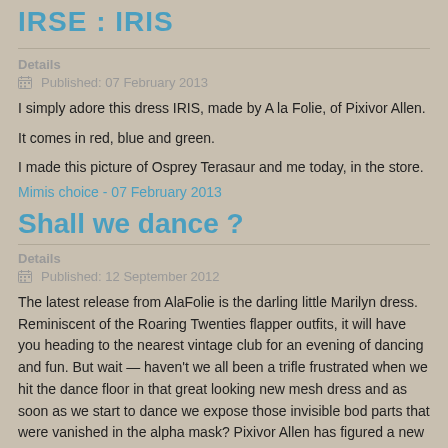IRSE : IRIS
Details
Published: 07 February 2013
I simply adore this dress IRIS, made by A la Folie, of Pixivor Allen.
It comes in red, blue and green.
I made this picture of Osprey Terasaur and me today, in the store.
Mimis choice - 07 February 2013
Shall we dance ?
Details
Published: 12 September 2012
The latest release from AlaFolie is the darling little Marilyn dress. Reminiscent of the Roaring Twenties flapper outfits, it will have you heading to the nearest vintage club for an evening of dancing and fun. But wait — haven't we all been a trifle frustrated when we hit the dance floor in that great looking new mesh dress and as soon as we start to dance we expose those invisible bod parts that were vanished in the alpha mask? Pixivor Allen has figured a new technique for mesh designs that does not require using an alpha mask and, will allow you complete motion freedom with no exposure of those icky